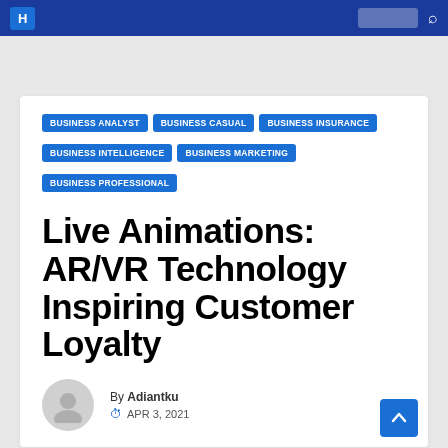Navigation bar with logo and search
BUSINESS ANALYST
BUSINESS CASUAL
BUSINESS INSURANCE
BUSINESS INTELLIGENCE
BUSINESS MARKETING
BUSINESS PROFESSIONAL
Live Animations: AR/VR Technology Inspiring Customer Loyalty
By Adiantku
APR 3, 2021